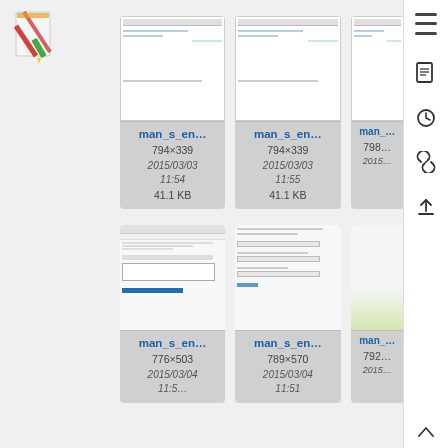[Figure (logo): Red and green stylized document/pen logo in top-left corner]
[Figure (screenshot): Thumbnail card: man_s_en... 794x339, 2015/03/03 11:54, 41.1 KB]
[Figure (screenshot): Thumbnail card: man_s_en... 794x339, 2015/03/03 11:55, 41.1 KB]
[Figure (screenshot): Thumbnail card (partial): man_... 798?, 2015...]
[Figure (screenshot): Thumbnail card: man_s_en... 776x503, 2015/03/04 11:5?]
[Figure (screenshot): Thumbnail card: man_s_en... 789x570, 2015/03/04 11:51]
[Figure (screenshot): Thumbnail card (partial): man_... 792?, 2015...]
[Figure (infographic): Right sidebar with hamburger menu icon and action icons (document, history, link, upload)]